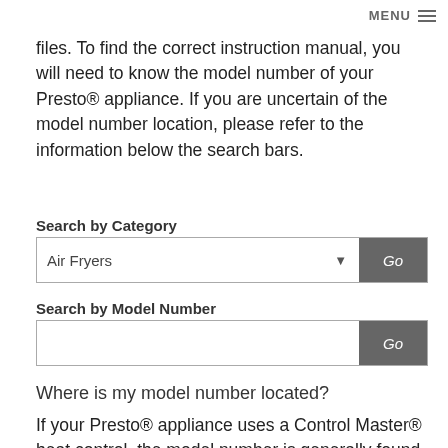MENU
files. To find the correct instruction manual, you will need to know the model number of your Presto® appliance. If you are uncertain of the model number location, please refer to the information below the search bars.
Search by Category
Air Fryers  Go
Search by Model Number
Go
Where is my model number located?
If your Presto® appliance uses a Control Master® heat control, the model number is generally found stamped on the left side of the plug guard on the